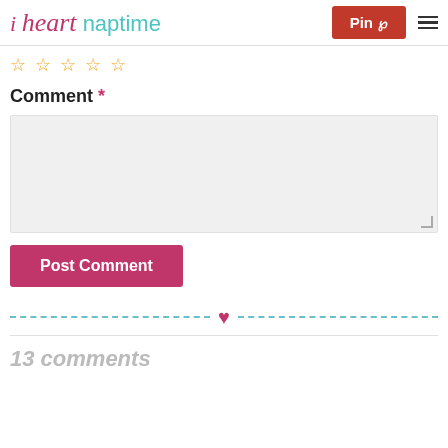i heart naptime | Pin | Menu
[Figure (other): Five empty star rating icons in orange/gold color]
Comment *
[Figure (other): Empty comment text area input field with gray background]
Post Comment
[Figure (other): Dashed teal divider line with pink heart in center]
13 comments